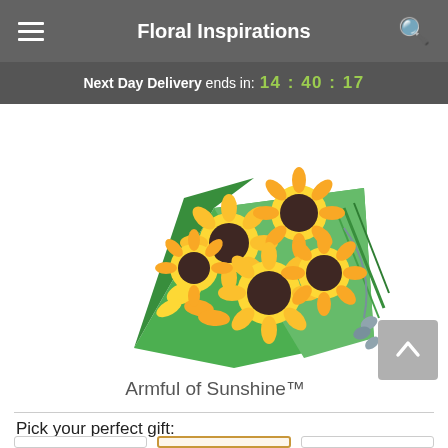Floral Inspirations
Next Day Delivery ends in: 14:40:17
[Figure (photo): A bouquet of sunflowers wrapped in bright green paper with yellow accent flowers and eucalyptus stems. The arrangement is called Armful of Sunshine™.]
Armful of Sunshine™
Pick your perfect gift: